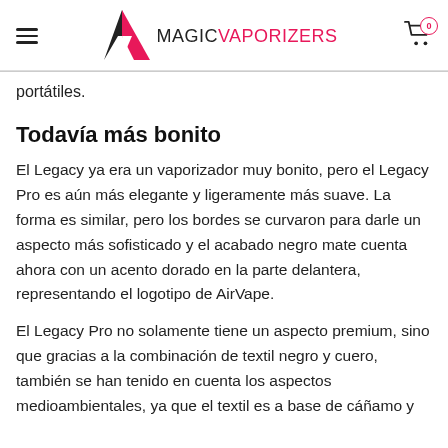MAGICVAPORIZERS
portátiles.
Todavía más bonito
El Legacy ya era un vaporizador muy bonito, pero el Legacy Pro es aún más elegante y ligeramente más suave. La forma es similar, pero los bordes se curvaron para darle un aspecto más sofisticado y el acabado negro mate cuenta ahora con un acento dorado en la parte delantera, representando el logotipo de AirVape.
El Legacy Pro no solamente tiene un aspecto premium, sino que gracias a la combinación de textil negro y cuero, también se han tenido en cuenta los aspectos medioambientales, ya que el textil es a base de cáñamo y